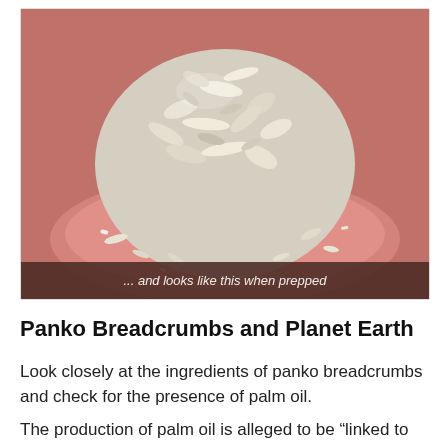[Figure (photo): A round ball of food coated in panko breadcrumbs sitting on a salmon/pink plate, photographed close-up.]
... and looks like this when prepped
Panko Breadcrumbs and Planet Earth
Look closely at the ingredients of panko breadcrumbs and check for the presence of palm oil.
The production of palm oil is alleged to be “linked to major issues